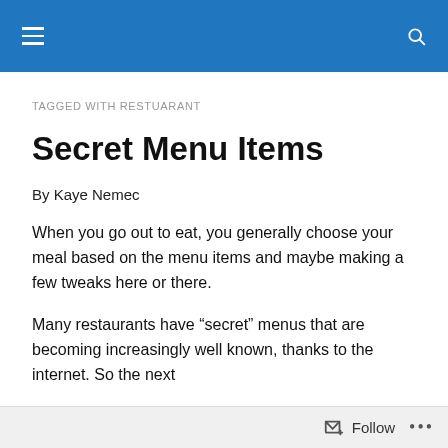TAGGED WITH RESTUARANT
Secret Menu Items
By Kaye Nemec
When you go out to eat, you generally choose your meal based on the menu items and maybe making a few tweaks here or there.
Many restaurants have “secret” menus that are becoming increasingly well known, thanks to the internet. So the next
Follow ...